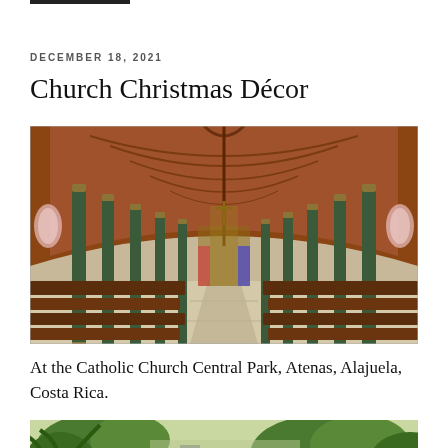DECEMBER 18, 2021
Church Christmas Décor
[Figure (photo): Interior of the Catholic Church Central Park in Atenas, Alajuela, Costa Rica, showing the wooden arched ceiling, green columns, wooden pews, and an aisle leading to the altar decorated for Christmas.]
At the Catholic Church Central Park, Atenas, Alajuela, Costa Rica.
[Figure (photo): Partial view of a second photo at the bottom of the page, appears to show outdoor tropical scenery with palm trees.]